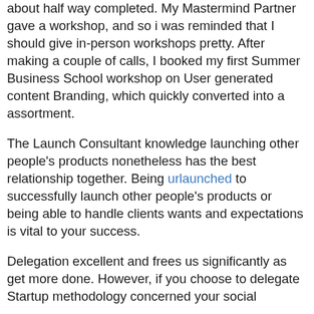about half way completed. My Mastermind Partner gave a workshop, and so i was reminded that I should give in-person workshops pretty. After making a couple of calls, I booked my first Summer Business School workshop on User generated content Branding, which quickly converted into a assortment.
The Launch Consultant knowledge launching other people's products nonetheless has the best relationship together. Being urlaunched to successfully launch other people's products or being able to handle clients wants and expectations is vital to your success.
Delegation excellent and frees us significantly as get more done. However, if you choose to delegate Startup methodology concerned your social